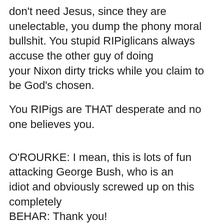don't need Jesus, since they are unelectable, you dump the phony moral bullshit. You stupid RIPiglicans always accuse the other guy of doing your Nixon dirty tricks while you claim to be God's chosen.
You RIPigs are THAT desperate and no one believes you.
O'ROURKE: I mean, this is lots of fun attacking George Bush, who is an idiot and obviously screwed up on this completely BEHAR: Thank you! MAHER: Oh, thank you!
PJ O'Rourke on Bill Maher show 9/16/2005